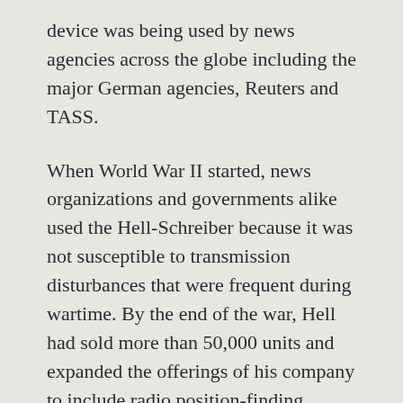device was being used by news agencies across the globe including the major German agencies, Reuters and TASS.
When World War II started, news organizations and governments alike used the Hell-Schreiber because it was not susceptible to transmission disturbances that were frequent during wartime. By the end of the war, Hell had sold more than 50,000 units and expanded the offerings of his company to include radio position-finding equipment, radio compasses and encryption devices.
As a businessman who refused to leave Germany during the war, Rudolf Hell chose to